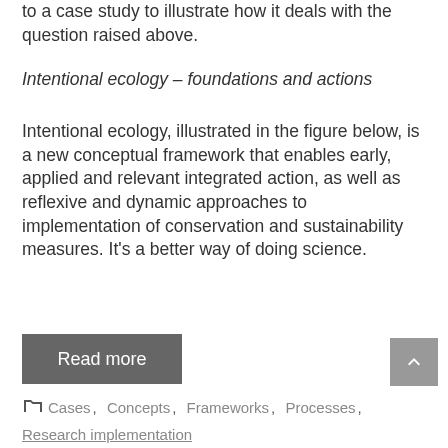to a case study to illustrate how it deals with the question raised above.
Intentional ecology – foundations and actions
Intentional ecology, illustrated in the figure below, is a new conceptual framework that enables early, applied and relevant integrated action, as well as reflexive and dynamic approaches to implementation of conservation and sustainability measures. It's a better way of doing science.
Read more
Cases , Concepts , Frameworks , Processes ,
Research implementation